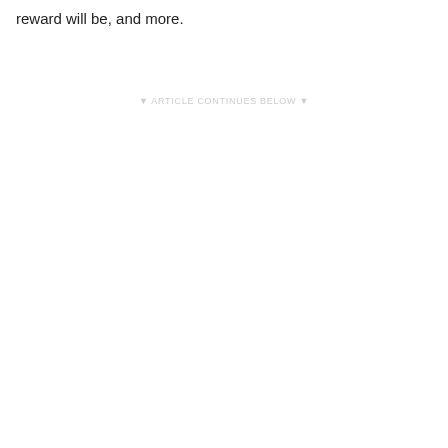reward will be, and more.
▼ ARTICLE CONTINUES BELOW ▼